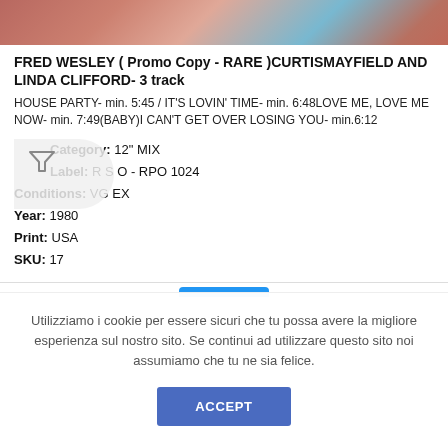[Figure (photo): Partial product image at top, showing colorful abstract/photographic background]
FRED WESLEY ( Promo Copy - RARE )CURTISMAYFIELD AND LINDA CLIFFORD- 3 track
HOUSE PARTY- min. 5:45 / IT'S LOVIN' TIME- min. 6:48LOVE ME, LOVE ME NOW- min. 7:49(BABY)I CAN'T GET OVER LOSING YOU- min.6:12
Category: 12" MIX
Label: R S O - RPO 1024
Conditions: VG EX
Year: 1980
Print: USA
SKU: 17
Utilizziamo i cookie per essere sicuri che tu possa avere la migliore esperienza sul nostro sito. Se continui ad utilizzare questo sito noi assumiamo che tu ne sia felice.
ACCEPT